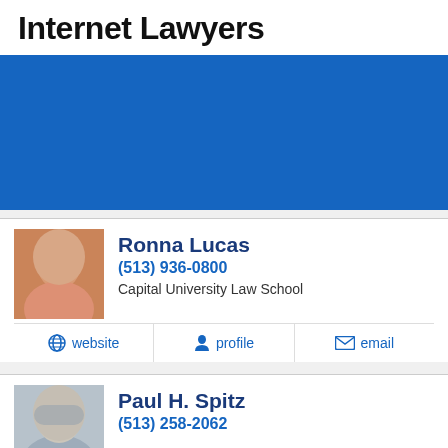Internet Lawyers
[Figure (other): Blue banner advertisement area]
Ronna Lucas
(513) 936-0800
Capital University Law School
website
profile
email
Paul H. Spitz
(513) 258-2062